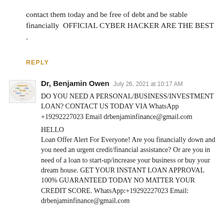contact them today and be free of debt and be stable financially  OFFICIAL CYBER HACKER ARE THE BEST .
REPLY
[Figure (logo): Small circular logo with colorful word cloud text related to financial planning]
Dr, Benjamin Owen  July 26, 2021 at 10:17 AM
DO YOU NEED A PERSONAL/BUSINESS/INVESTMENT LOAN? CONTACT US TODAY VIA WhatsApp +19292227023 Email drbenjaminfinance@gmail.com

HELLO
Loan Offer Alert For Everyone! Are you financially down and you need an urgent credit/financial assistance? Or are you in need of a loan to start-up/increase your business or buy your dream house. GET YOUR INSTANT LOAN APPROVAL 100% GUARANTEED TODAY NO MATTER YOUR CREDIT SCORE. WhatsApp:+19292227023 Email: drbenjaminfinance@gmail.com